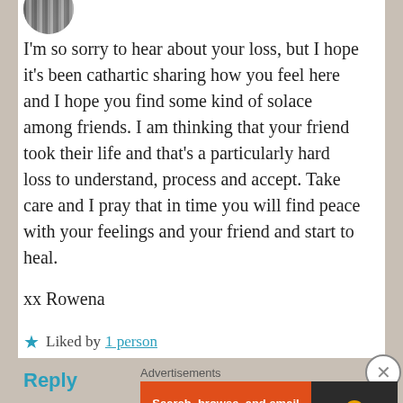[Figure (photo): Partial avatar/profile picture at top left, circular cropped image with striped pattern visible]
I'm so sorry to hear about your loss, but I hope it's been cathartic sharing how you feel here and I hope you find some kind of solace among friends. I am thinking that your friend took their life and that's a particularly hard loss to understand, process and accept. Take care and I pray that in time you will find peace with your feelings and your friend and start to heal.
xx Rowena
★ Liked by 1 person
Reply
Advertisements
[Figure (screenshot): DuckDuckGo advertisement banner: orange section reading 'Search, browse, and email with more privacy. All in One Free App' and dark section with DuckDuckGo duck logo]